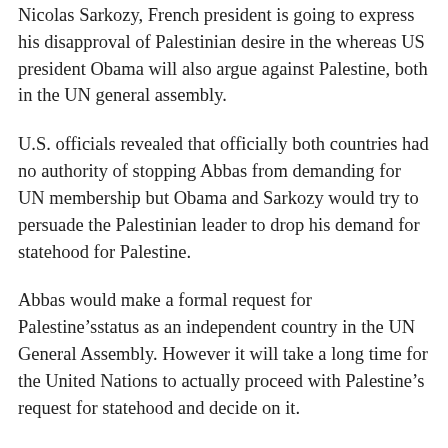Nicolas Sarkozy, French president is going to express his disapproval of Palestinian desire in the whereas US president Obama will also argue against Palestine, both in the UN general assembly.
U.S. officials revealed that officially both countries had no authority of stopping Abbas from demanding for UN membership but Obama and Sarkozy would try to persuade the Palestinian leader to drop his demand for statehood for Palestine.
Abbas would make a formal request for Palestine’sstatus as an independent country in the UN General Assembly. However it will take a long time for the United Nations to actually proceed with Palestine’s request for statehood and decide on it.
Even if the United States fails to make Abbas not to proceed with demand for UN approval for Palestine’s statehood, Obama will certainly use veto power finally to